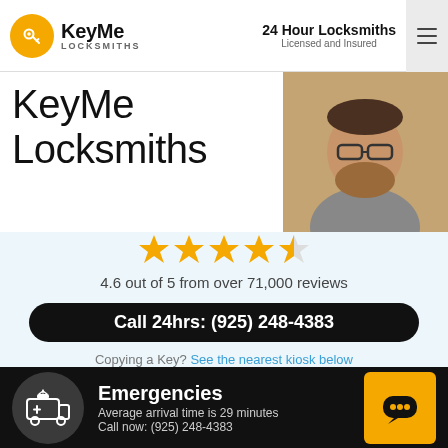KeyMe Locksmiths | 24 Hour Locksmiths Licensed and Insured
KeyMe Locksmiths
[Figure (photo): Photo of a man with beard and glasses working]
★★★★☆ 4.6 out of 5 from over 71,000 reviews
Call 24hrs: (925) 248-4383
Copying a Key? See the nearest kiosk below
Emergencies
Average arrival time is 29 minutes
Call now: (925) 248-4383
[Figure (illustration): Emergency ambulance/vehicle icon in dark circle]
[Figure (illustration): Yellow square chat/message bubble icon]